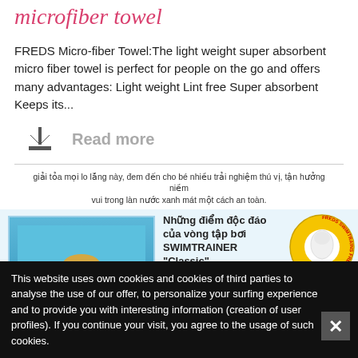microfiber towel
FREDS Micro-fiber Towel:The light weight super absorbent micro fiber towel is perfect for people on the go and offers many advantages: Light weight Lint free Super absorbent Keeps its...
Read more
[Figure (photo): Screenshot of a product page showing a Vietnamese language advertisement for SWIMTRAINER Classic swimming ring, featuring a child in a pool with a red swim ring, yellow and teal rings on the right, and Vietnamese product description text]
This website uses own cookies and cookies of third parties to analyse the use of our offer, to personalize your surfing experience and to provide you with interesting information (creation of user profiles). If you continue your visit, you agree to the usage of such cookies.